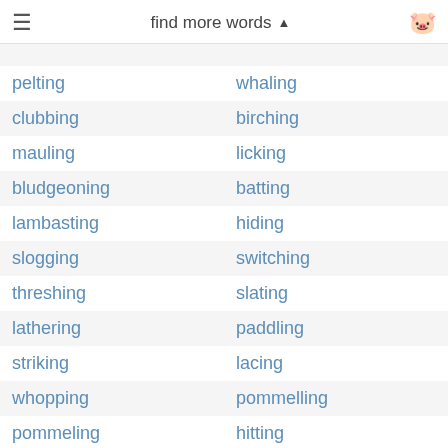find more words
pelting | whaling
clubbing | birching
mauling | licking
bludgeoning | batting
lambasting | hiding
slogging | switching
threshing | slating
lathering | paddling
striking | lacing
whopping | pommelling
pommeling | hitting
basting | whapping
whupping | tromping
fibbing | belaboringus